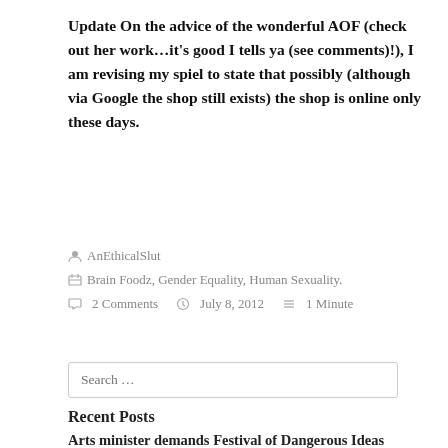Update On the advice of the wonderful AOF (check out her work…it's good I tells ya (see comments)!), I am revising my spiel to state that possibly (although via Google the shop still exists) the shop is online only these days.
AnEthicalSlut
Brain Foodz, Gender Equality, Human Sexuality.
2 Comments   July 8, 2012   1 Minute
Search …
Recent Posts
Arts minister demands Festival of Dangerous Ideas